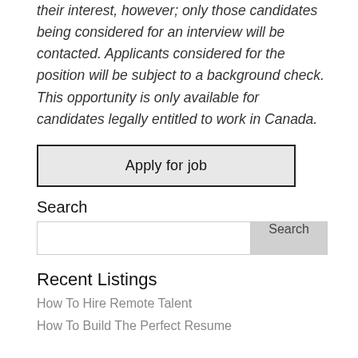their interest, however; only those candidates being considered for an interview will be contacted. Applicants considered for the position will be subject to a background check. This opportunity is only available for candidates legally entitled to work in Canada.
[Figure (other): Apply for job button - a rectangular button with light gray background and dark border containing the text 'Apply for job']
Search
[Figure (other): Search input field with a gray Search button on the right]
Recent Listings
How To Hire Remote Talent
How To Build The Perfect Resume